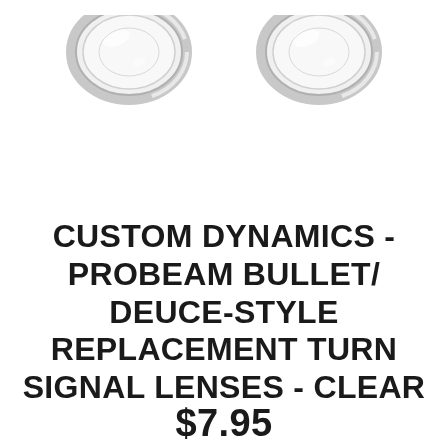[Figure (photo): Two clear turn signal lenses viewed from above, circular glass/plastic pieces with chrome rings, shown side by side on white background]
CUSTOM DYNAMICS - PROBEAM BULLET/ DEUCE-STYLE REPLACEMENT TURN SIGNAL LENSES - CLEAR
$7.95